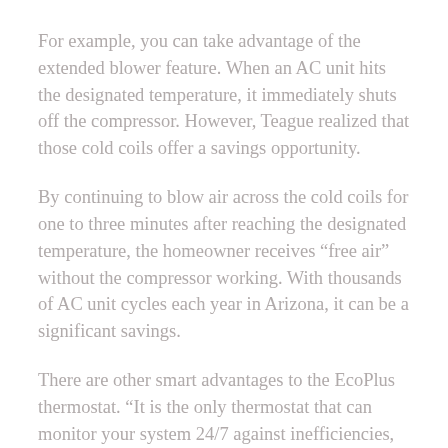For example, you can take advantage of the extended blower feature. When an AC unit hits the designated temperature, it immediately shuts off the compressor. However, Teague realized that those cold coils offer a savings opportunity.
By continuing to blow air across the cold coils for one to three minutes after reaching the designated temperature, the homeowner receives “free air” without the compressor working. With thousands of AC unit cycles each year in Arizona, it can be a significant savings.
There are other smart advantages to the EcoPlus thermostat. “It is the only thermostat that can monitor your system 24/7 against inefficiencies, anomalies, and breakdowns,” explains Teague.
“The thermosta…